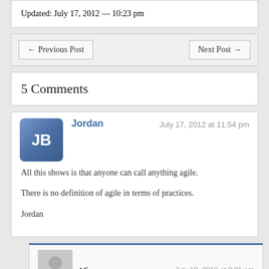Updated: July 17, 2012 — 10:23 pm
← Previous Post
Next Post →
5 Comments
Jordan — July 17, 2012 at 11:54 pm
All this shows is that anyone can call anything agile.
There is no definition of agile in terms of practices.
Jordan
Vin — July 18, 2012 at 8:31 am
You're right, Jordan. "Agile" is a hot term today and companies are anxious to call themselves agile. They have daily meetings and voilà — they're doing agile development. The lack of definition around practices is both good and bad. It's good